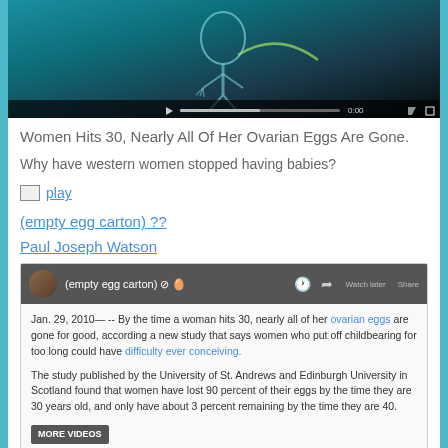[Figure (screenshot): Video thumbnail showing a skeleton or digital figure in a teal/dark background, with a video player control bar at the bottom]
Women Hits 30, Nearly All Of Her Ovarian Eggs Are Gone.
Why have western women stopped having babies?
play (link with play icon image)
(empty egg carton) ??
Paul Joseph Watson
[Figure (screenshot): Embedded YouTube-style video comment or post from user '(empty egg carton)' with clock and share icons, containing text: 'Jan. 29, 2010— -- By the time a woman hits 30, nearly all of her ovarian eggs are gone for good, according a new study that says women who put off childbearing for too long could have difficulty ever conceiving. The study published by the University of St. Andrews and Edinburgh University in Scotland found that women have lost 90 percent of their eggs by the time they are 30 years old, and only have about 3 percent remaining by the time they are 40.' with a 'MORE VIDEOS' button.]